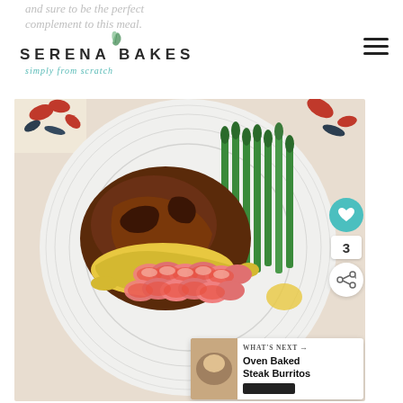and sure to be the perfect complement to this meal.
[Figure (logo): Serena Bakes Simply From Scratch logo with leaf decoration]
[Figure (photo): Overhead photo of a white plate with seared steak topped with hollandaise sauce and lobster/shrimp, served with steamed asparagus, on a floral tablecloth background. Social sharing buttons and a 'What's Next: Oven Baked Steak Burritos' widget overlay the right side.]